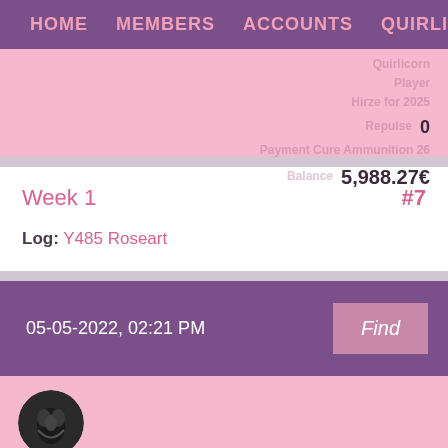HOME   MEMBERS   ACCOUNTS   QUIRLICORNS
Repulse: 0
Balance: 5,988.27€
Week 1   #7
Log: Y485 Roseart
05-05-2022, 02:21 PM
Find